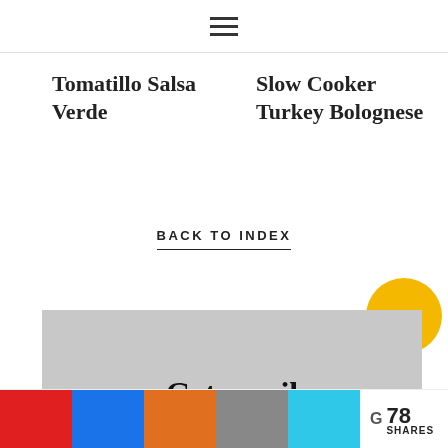[Figure (other): Hamburger menu icon (three horizontal lines) centered at top of page]
Tomatillo Salsa Verde
Slow Cooker Turkey Bolognese
BACK TO INDEX
[Figure (other): Gray promotional banner with text 'Get email updates' partially visible, with a yellow circle button overlay and partial blue button visible at bottom]
[Figure (other): Social share bar with colored buttons: red, blue, orange, gray, cyan; G logo and 78 SHARES count]